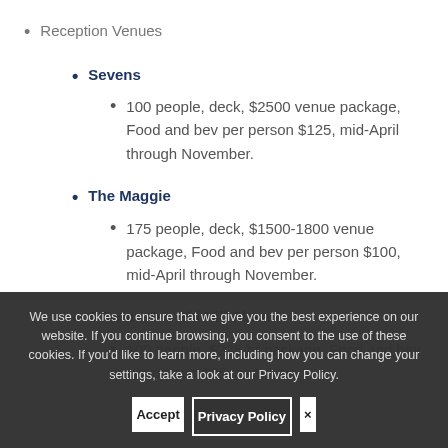Reception Venues
Sevens
100 people, deck, $2500 venue package, Food and bev per person $125, mid-April through November.
The Maggie
175 people, deck, $1500-1800 venue package, Food and bev per person $100, mid-April through November.
5 Room Ore Ski Hill Place
100 people, $225 hr package, Food and bev per person $35, mid-June
We use cookies to ensure that we give you the best experience on our website. If you continue browsing, you consent to the use of these cookies. If you'd like to learn more, including how you can change your settings, take a look at our Privacy Policy.
Accept
Privacy Policy
×